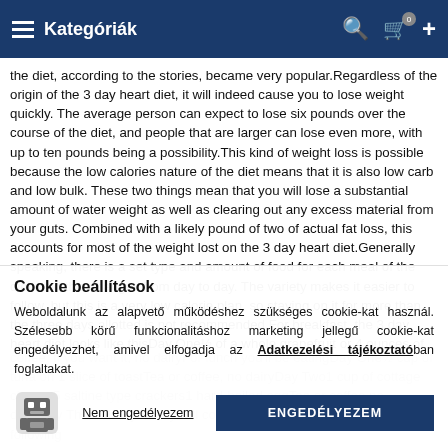Kategóriák
the diet, according to the stories, became very popular.Regardless of the origin of the 3 day heart diet, it will indeed cause you to lose weight quickly. The average person can expect to lose six pounds over the course of the diet, and people that are larger can lose even more, with up to ten pounds being a possibility.This kind of weight loss is possible because the low calories nature of the diet means that it is also low carb and low bulk. These two things mean that you will lose a substantial amount of water weight as well as clearing out any excess material from your guts. Combined with a likely pound of two of actual fat loss, this accounts for most of the weight lost on the 3 day heart diet.Generally speaking, there is a set type and amount of food for each meal of the diet, and this changes from day to day. The variety makes it easier to follow, but this is a very low calorie plan, so staying on it for more than the three days allotted is not recommended.For breakfast, the 3 day heart diet looks like thisDay One½ of a whole grapefruit or 4 ounces of grapefruit juice, unsweetened1 slice of toast with a teaspoon of peanut butterTea or coffee, if you want it, no dairyDay Two1 hard-boiled egg1 slice of toast1/2 BananaTea or coffee, if you want it, no dairyDay Three1 hard-boiled egg1 slice of toastTea or coffee, if you want it, no dairyFor lunch you'll be eatingDay One½ cup of tuna on 1 slice of toastTea or coffee, no dairyDay Two1 cup of cottage cheese5 saltine type crackers1 hard-boiled eggTea or coffee, no dairyDay Three1 cup of tuna1 slice of toastTea or coffee, no dairyDinner time brings the most variety and you'll be eating:Day Two1 hard-boiled egg½ cup of tuna1 slice of toastDay Three½ banana½ cup of vanilla ice cream1 small apple that you say will come that increases in sizes the following
Cookie beállítások
Weboldalunk az alapvető működéshez szükséges cookie-kat használ. Szélesebb körű funkcionalitáshoz marketing jellegű cookie-kat engedélyezhet, amivel elfogadja az Adatkezelési tájékoztatóban foglaltakat.
Nem engedélyezem
ENGEDÉLYEZEM